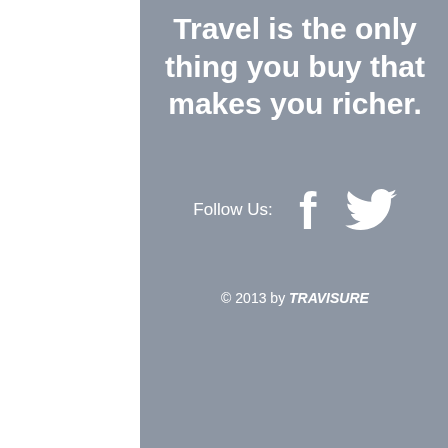Travel is the only thing you buy that makes you richer.
Follow Us:
[Figure (logo): Facebook and Twitter social media icons in white]
© 2013 by TRAVISURE